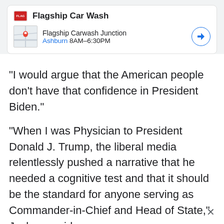[Figure (screenshot): Google ad card for Flagship Car Wash showing logo, business name, and a location listing for Flagship Carwash Junction in Ashburn with hours 8AM-6:30PM and a navigation arrow button]
“I would argue that the American people don’t have that confidence in President Biden.”
“When I was Physician to President Donald J. Trump, the liberal media relentlessly pushed a narrative that he needed a cognitive test and that it should be the standard for anyone serving as Commander-in-Chief and Head of State,” Jackson said.